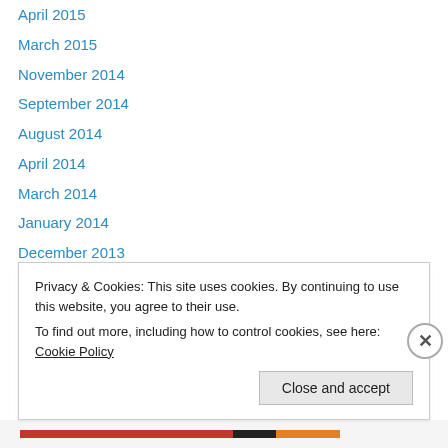April 2015
March 2015
November 2014
September 2014
August 2014
April 2014
March 2014
January 2014
December 2013
November 2013
October 2013
September 2013
August 2013
July 2013
Privacy & Cookies: This site uses cookies. By continuing to use this website, you agree to their use. To find out more, including how to control cookies, see here: Cookie Policy
Close and accept